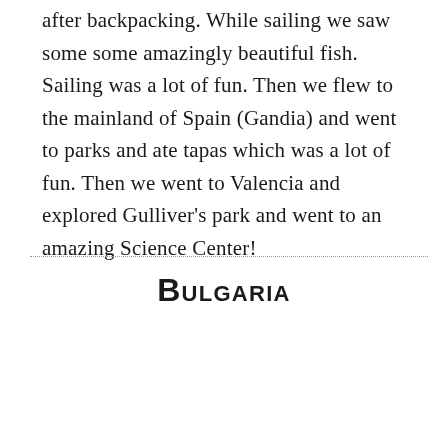after backpacking. While sailing we saw some some amazingly beautiful fish. Sailing was a lot of fun. Then we flew to the mainland of Spain (Gandia) and went to parks and ate tapas which was a lot of fun. Then we went to Valencia and explored Gulliver's park and went to an amazing Science Center!
Bulgaria